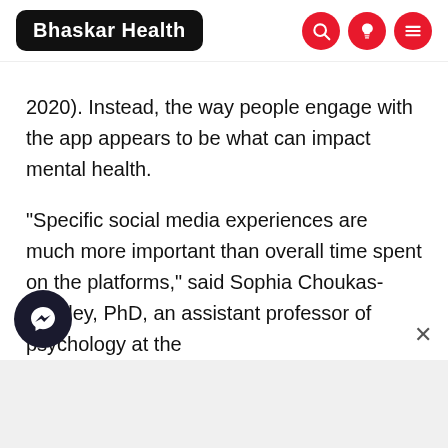Bhaskar Health
2020). Instead, the way people engage with the app appears to be what can impact mental health. “Specific social media experiences are much more important than overall time spent on the platforms,” said Sophia Choukas-Bradley, PhD, an assistant professor of psychology at the rsity of Delaware who studies adolescent mental health